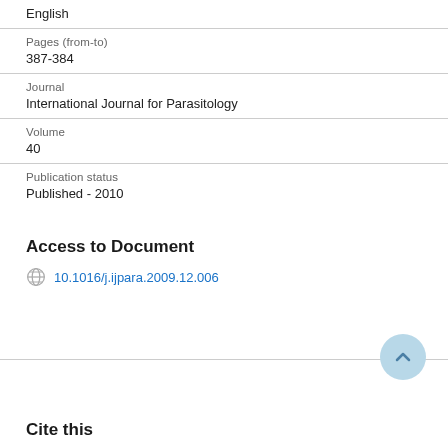English
Pages (from-to)
387-384
Journal
International Journal for Parasitology
Volume
40
Publication status
Published - 2010
Access to Document
10.1016/j.ijpara.2009.12.006
Cite this